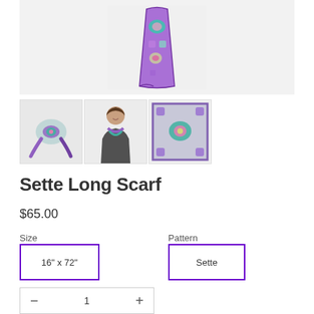[Figure (photo): Main product photo of Sette Long Scarf folded/draped, showing colorful purple, teal, green, and pink geometric pattern]
[Figure (photo): Thumbnail 1: Scarf tied in knot, colorful pattern]
[Figure (photo): Thumbnail 2: Woman wearing scarf around neck]
[Figure (photo): Thumbnail 3: Scarf laid flat showing geometric pattern]
Sette Long Scarf
$65.00
Size
Pattern
16" x 72"
Sette
1
Add to Cart